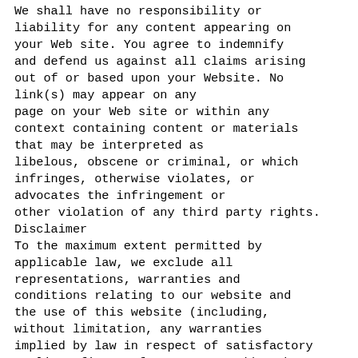We shall have no responsibility or liability for any content appearing on your Web site. You agree to indemnify and defend us against all claims arising out of or based upon your Website. No link(s) may appear on any page on your Web site or within any context containing content or materials that may be interpreted as libelous, obscene or criminal, or which infringes, otherwise violates, or advocates the infringement or other violation of any third party rights.
Disclaimer
To the maximum extent permitted by applicable law, we exclude all representations, warranties and conditions relating to our website and the use of this website (including, without limitation, any warranties implied by law in respect of satisfactory quality, fitness for purpose and/or the use of reasonable care and skill). Nothing in this disclaimer will: